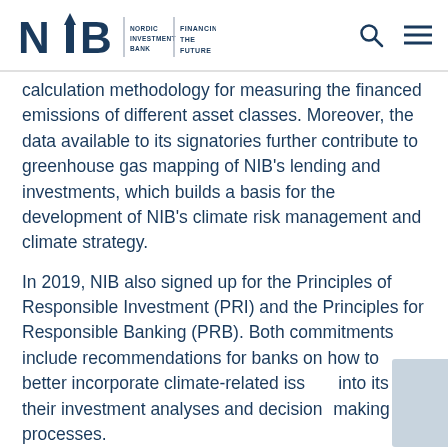NIB — Nordic Investment Bank | Financing the Future
calculation methodology for measuring the financed emissions of different asset classes. Moreover, the data available to its signatories further contribute to greenhouse gas mapping of NIB's lending and investments, which builds a basis for the development of NIB's climate risk management and climate strategy.
In 2019, NIB also signed up for the Principles of Responsible Investment (PRI) and the Principles for Responsible Banking (PRB). Both commitments include recommendations for banks on how to better incorporate climate-related issues into its their investment analyses and decision-making processes.